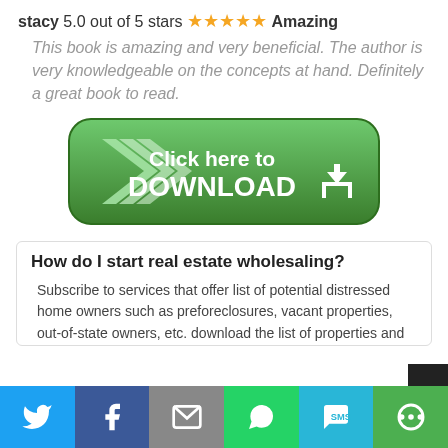stacy 5.0 out of 5 stars ★★★★★ Amazing
This book is amazing and very beneficial. The author is very knowledgeable on the concepts at hand. Definitely a great book to read.
[Figure (other): Green rounded download button with chevron arrows and text 'Click here to DOWNLOAD' with download icon]
How do I start real estate wholesaling?
Subscribe to services that offer list of potential distressed home owners such as preforeclosures, vacant properties, out-of-state owners, etc. download the list of properties and
[Figure (other): Footer social sharing bar with Twitter, Facebook, Email, WhatsApp, SMS, and More buttons]